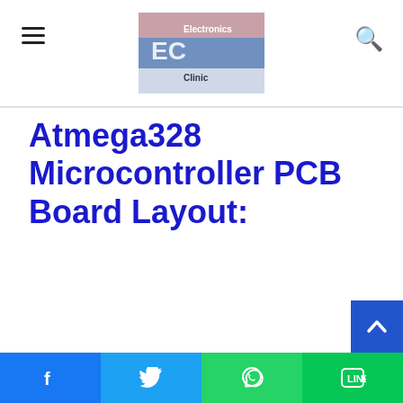Electronics Clinic — navigation header with hamburger menu, logo, and search icon
Atmega328 Microcontroller PCB Board Layout:
[Figure (other): Scroll-to-top button (dark blue) with up-arrow chevron, positioned at bottom-right]
[Figure (other): Social share bar with four buttons: Facebook (blue, f icon), Twitter (light blue, bird icon), WhatsApp (green, phone icon), LINE (green, chat icon)]